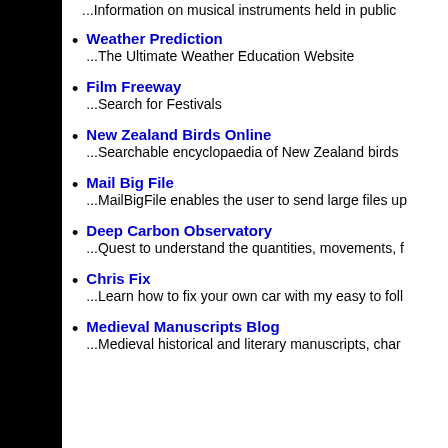...Information on musical instruments held in public
Weather Prediction
...The Ultimate Weather Education Website
Film Freeway
...Search for Festivals
New Zealand Birds Online
...Searchable encyclopaedia of New Zealand birds
Mail Big File
...MailBigFile enables the user to send large files up
Deep Carbon Observatory
...Quest to understand the quantities, movements, f
Chris Fix
...Learn how to fix your own car with my easy to foll
Medieval Manuscripts Blog
...Medieval historical and literary manuscripts, char